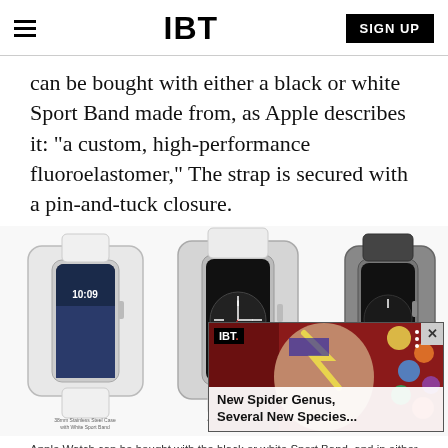IBT | SIGN UP
can be bought with either a black or white Sport Band made from, as Apple describes it: "a custom, high-performance fluoroelastomer," The strap is secured with a pin-and-tuck closure.
[Figure (photo): Three Apple Watch models displayed side by side: 38mm Stainless Steel Case with White Sport Band (left), 42mm Stainless Steel Case with White Sport Band (center), 38mm Stainless Steel Case with Black Sport Band (right). An IBT news overlay ad appears in the bottom right corner showing 'New Spider Genus, Several New Species...']
Apple Watch can be bought with the black or white Sport Band, and in either 38mm or 42mm size     (PHOTO: APPLE)